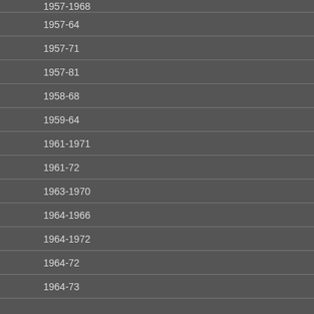1957-1968
1957-64
1957-71
1957-81
1958-68
1959-64
1961-1971
1961-72
1963-1970
1964-1966
1964-1972
1964-72
1964-73